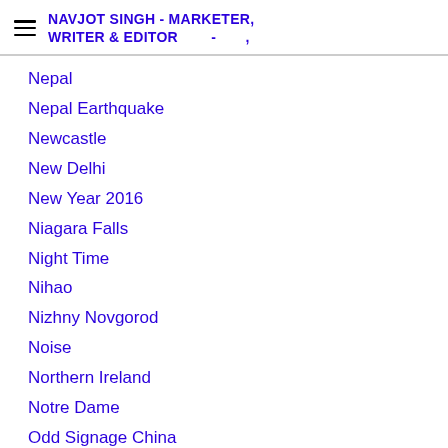NAVJOT SINGH - MARKETER, WRITER & EDITOR - ,
Nepal
Nepal Earthquake
Newcastle
New Delhi
New Year 2016
Niagara Falls
Night Time
Nihao
Nizhny Novgorod
Noise
Northern Ireland
Notre Dame
Odd Signage China
Olympics
Oman
Oman Air
Opium Bar Madrid